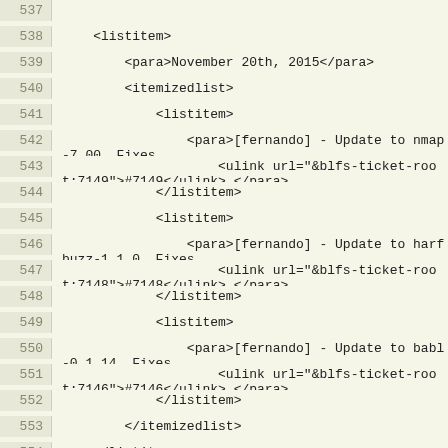537
538     <listitem>
539         <para>November 20th, 2015</para>
540         <itemizedlist>
541             <listitem>
542                 <para>[fernando] - Update to nmap-7.00. Fixes
543                     <ulink url="&blfs-ticket-root;7149">#7149</ulink>.</para>
544             </listitem>
545             <listitem>
546                 <para>[fernando] - Update to harfbuzz-1.1.0. Fixes
547                     <ulink url="&blfs-ticket-root;7148">#7148</ulink>.</para>
548             </listitem>
549             <listitem>
550                 <para>[fernando] - Update to babl-0.1.14. Fixes
551                     <ulink url="&blfs-ticket-root;7146">#7146</ulink>.</para>
552             </listitem>
553         </itemizedlist>
554     </listitem>